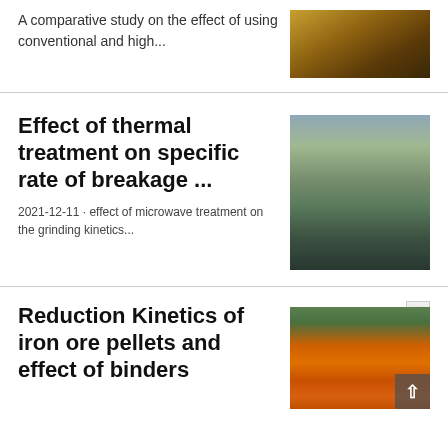A comparative study on the effect of using conventional and high...
[Figure (photo): Industrial machinery equipment, yellowish-brown tones, top right of first article]
Effect of thermal treatment on specific rate of breakage ...
2021-12-11 · effect of microwave treatment on the grinding kinetics...
[Figure (photo): Aerial view of industrial conveyor belt machinery, mining or quarry equipment]
Reduction Kinetics of iron ore pellets and effect of binders
[Figure (photo): Orange excavator / heavy machinery at a worksite]